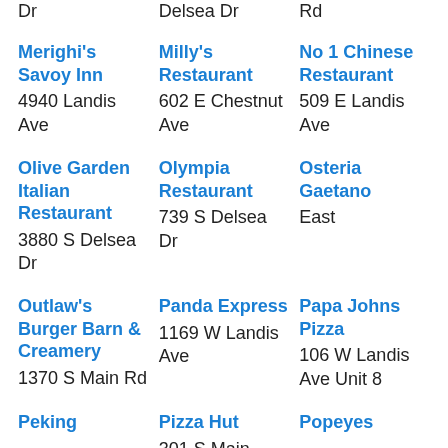Dr
Delsea Dr
Rd
Merighi's Savoy Inn
4940 Landis Ave
Milly's Restaurant
602 E Chestnut Ave
No 1 Chinese Restaurant
509 E Landis Ave
Olive Garden Italian Restaurant
3880 S Delsea Dr
Olympia Restaurant
739 S Delsea Dr
Osteria Gaetano
East
Outlaw's Burger Barn & Creamery
1370 S Main Rd
Panda Express
1169 W Landis Ave
Papa Johns Pizza
106 W Landis Ave Unit 8
Peking
Pizza Hut
301 S Main
Popeyes Louisiana